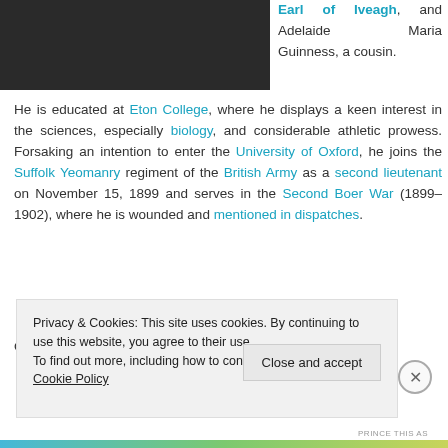[Figure (photo): Dark photograph of a person, upper body, dark clothing]
Earl of Iveagh, and Adelaide Maria Guinness, a cousin.
He is educated at Eton College, where he displays a keen interest in the sciences, especially biology, and considerable athletic prowess. Forsaking an intention to enter the University of Oxford, he joins the Suffolk Yeomanry regiment of the British Army as a second lieutenant on November 15, 1899 and serves in the Second Boer War (1899–1902), where he is wounded and mentioned in dispatches.
On return from South Africa, Guinness enters politics
Privacy & Cookies: This site uses cookies. By continuing to use this website, you agree to their use.
To find out more, including how to control cookies, see here: Cookie Policy
Close and accept